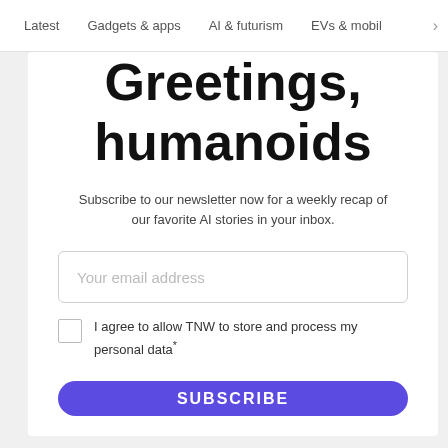Latest   Gadgets & apps   AI & futurism   EVs & mobil
Greetings, humanoids
Subscribe to our newsletter now for a weekly recap of our favorite AI stories in your inbox.
Your email address
I agree to allow TNW to store and process my personal data*
SUBSCRIBE